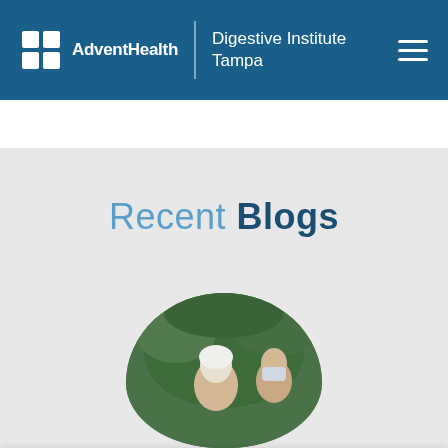AdventHealth | Digestive Institute Tampa
Recent Blogs
[Figure (photo): Circular cropped photo showing an elderly person with white hair and another person wearing a mask, outdoors with green foliage in background]
Our website uses cookies. Please review our privacy policy to find out more about the cookies we use. Browsing our website means you accept these terms.